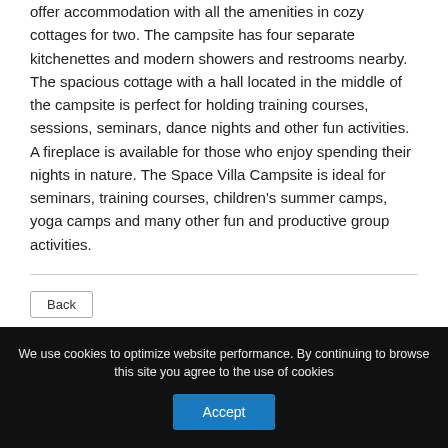offer accommodation with all the amenities in cozy cottages for two. The campsite has four separate kitchenettes and modern showers and restrooms nearby. The spacious cottage with a hall located in the middle of the campsite is perfect for holding training courses, sessions, seminars, dance nights and other fun activities. A fireplace is available for those who enjoy spending their nights in nature. The Space Villa Campsite is ideal for seminars, training courses, children's summer camps, yoga camps and many other fun and productive group activities.
Contacts
We use cookies to optimize website performance. By continuing to browse this site you agree to the use of cookies